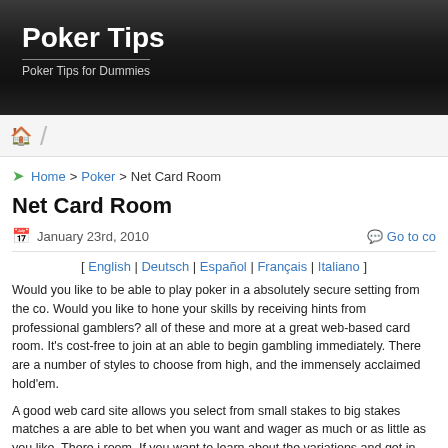Poker Tips
Poker Tips for Dummies
[ English | Deutsch | Español | Français | Italiano ]
Net Card Room
January 23rd, 2010
[ English | Deutsch | Español | Français | Italiano ]
Would you like to be able to play poker in a absolutely secure setting from the co... Would you like to hone your skills by receiving hints from professional gamblers? all of these and more at a great web-based card room. It's cost-free to join at an able to begin gambling immediately. There are a number of styles to choose from high, and the immensely acclaimed hold'em.
A good web card site allows you select from small stakes to big stakes matches a are able to bet when you want and wager as much or as little as you like. There i room. If you want to learn about the variations and get in some practice before ga cost poker room at hand where you can play. You can pick up the finer elements players and then play with greater conviction.